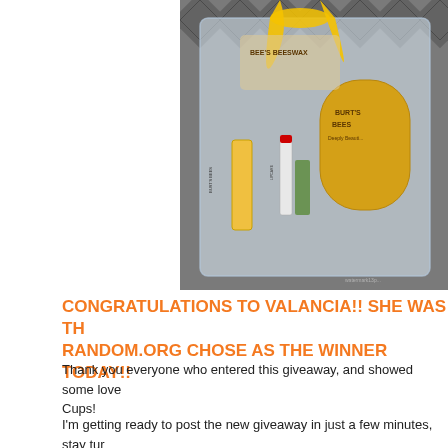[Figure (photo): A clear gift bag containing Burt's Bees products including lip balm, a wooden brush/paddle, and other skincare items, tied with a yellow ribbon, photographed on a patterned tile floor]
CONGRATULATIONS TO VALANCIA!! SHE WAS TH RANDOM.ORG CHOSE AS THE WINNER TODAY!!
Thank you everyone who entered this giveaway, and showed some love Cups!
I'm getting ready to post the new giveaway in just a few minutes, stay tur